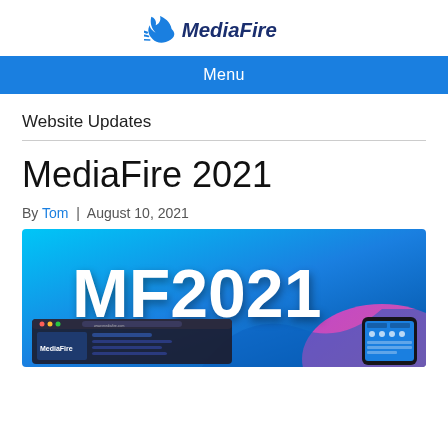MediaFire
Menu
Website Updates
MediaFire 2021
By Tom | August 10, 2021
[Figure (screenshot): MediaFire 2021 promotional banner showing 'MF2021' text over a blue gradient background with screenshots of the MediaFire desktop and mobile interface]